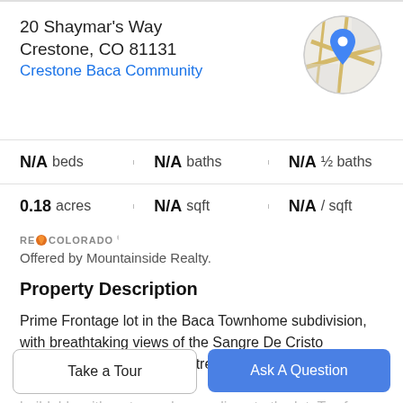20 Shaymar's Way
Crestone, CO 81131
Crestone Baca Community
[Figure (map): Circular map thumbnail with a blue location pin marker, showing road intersections on a light gray/beige background.]
N/A beds | N/A baths | N/A ½ baths
0.18 acres | N/A sqft | N/A / sqft
[Figure (logo): REcolorado logo with orange flame icon]
Offered by Mountainside Realty.
Property Description
Prime Frontage lot in the Baca Townhome subdivision, with breathtaking views of the Sangre De Cristo Mountains and across the street from government land. Property is
buildable with water and sewer lines to the lot. Tax fo